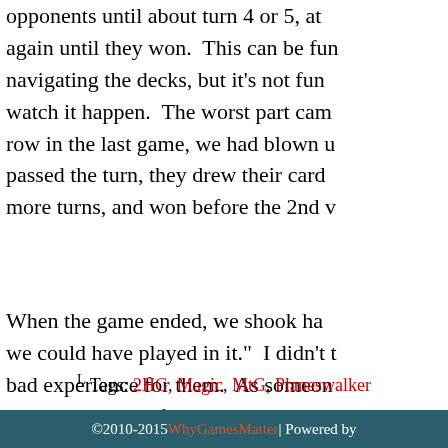opponents until about turn 4 or 5, at again until they won.  This can be fun navigating the decks, but it's not fun watch it happen.  The worst part cam row in the last game, we had blown u passed the turn, they drew their card more turns, and won before the 2nd v
When the game ended, we shook ha we could have played in it."  I didn't t bad experience for them.  As someone being the cause of people disliking it. because of an unfun deck.  I'm not sa they have.  But I do think they might b get past the head shaking surprise of can get kind of boring.  I found that w when they win against it, they are reli good for the health of the game and t
I don't want to be a bully with those d to win, but I want to do so in a more f pull these deck out occasionally, but
Tags: 2HG, Magic, MtG, Planeswalker
©2010-2015 WhyGamesMatter | Powered by